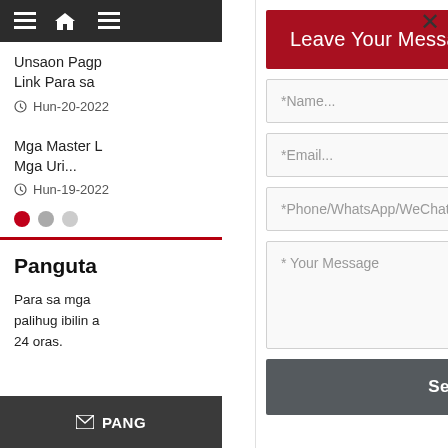[Figure (screenshot): Website sidebar navigation with dark top bar containing home and menu icons, navigation links in Cebuano/Filipino language, date metadata, dot pagination, section title 'Panguta...' and body text, and a dark bottom button bar with 'PANG' text.]
Leave Your Message
*Name...
*Email...
*Phone/WhatsApp/WeChat
* Your Message
Send